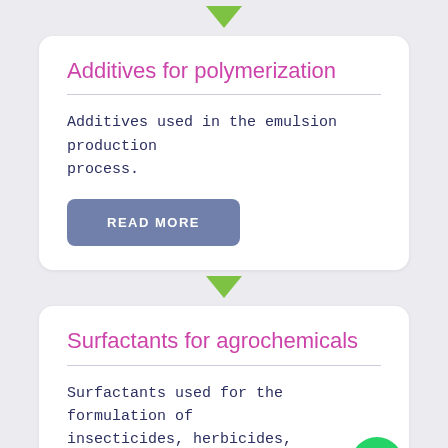Additives for polymerization
Additives used in the emulsion production process.
READ MORE
Surfactants for agrochemicals
Surfactants used for the formulation of insecticides, herbicides, fungicides, and